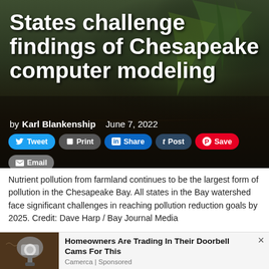[Figure (photo): Background photo of soil with small seedling plants emerging from dark earth, serving as hero image behind article title]
States challenge findings of Chesapeake computer modeling
by Karl Blankenship   June 7, 2022
Tweet  Print  Share  Post  Save  Email
Nutrient pollution from farmland continues to be the largest form of pollution in the Chesapeake Bay. All states in the Bay watershed face significant challenges in reaching pollution reduction goals by 2025. Credit: Dave Harp / Bay Journal Media
[Figure (photo): Advertisement image showing a security camera mounted on a wall lamp]
Homeowners Are Trading In Their Doorbell Cams For This
Camerca | Sponsored